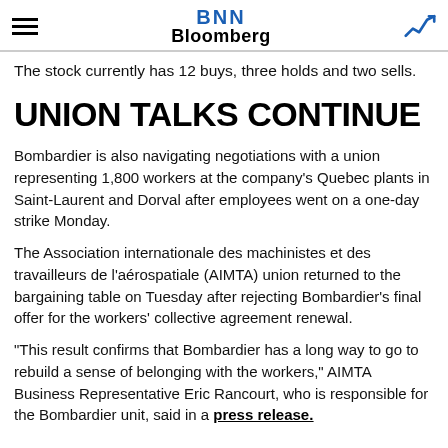BNN Bloomberg
The stock currently has 12 buys, three holds and two sells.
UNION TALKS CONTINUE
Bombardier is also navigating negotiations with a union representing 1,800 workers at the company's Quebec plants in Saint-Laurent and Dorval after employees went on a one-day strike Monday.
The Association internationale des machinistes et des travailleurs de l'aérospatiale (AIMTA) union returned to the bargaining table on Tuesday after rejecting Bombardier's final offer for the workers' collective agreement renewal.
“This result confirms that Bombardier has a long way to go to rebuild a sense of belonging with the workers,” AIMTA Business Representative Eric Rancourt, who is responsible for the Bombardier unit, said in a press release.